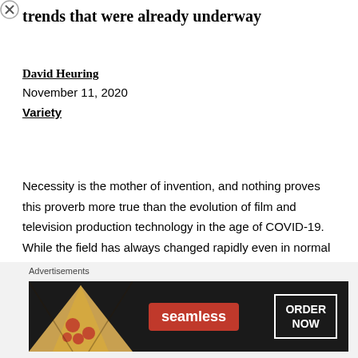trends that were already underway
David Heuring
November 11, 2020
Variety
Necessity is the mother of invention, and nothing proves this proverb more true than the evolution of film and television production technology in the age of COVID-19. While the field has always changed rapidly even in normal times, the pace of change and adaptation has accelerated over the past six months.
[Figure (other): Seamless food delivery advertisement banner with pizza image, Seamless logo in red, and ORDER NOW button]